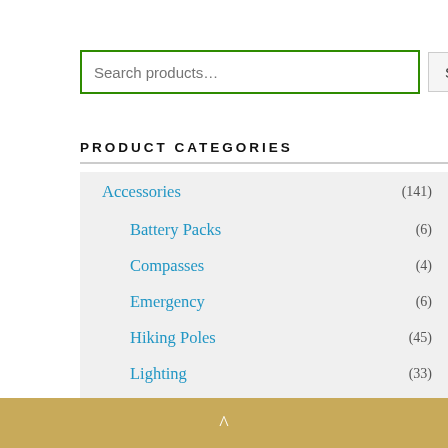[Figure (screenshot): Search bar with green border and placeholder text 'Search products...' with a Search button]
PRODUCT CATEGORIES
Accessories (141)
Battery Packs (6)
Compasses (4)
Emergency (6)
Hiking Poles (45)
Lighting (33)
Miscellaneous (39)
Pack Covers (2)
^